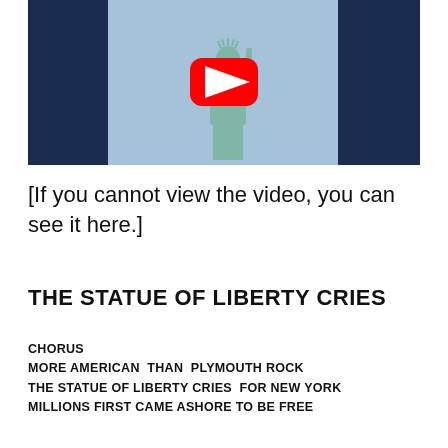[Figure (screenshot): YouTube video thumbnail showing the Statue of Liberty against a blue sky with a red YouTube play button overlay, dark navy sidebar on the left.]
[If you cannot view the video, you can see it here.]
THE STATUE OF LIBERTY CRIES
CHORUS
MORE AMERICAN  THAN  PLYMOUTH ROCK
THE STATUE OF LIBERTY CRIES  FOR NEW YORK
MILLIONS FIRST CAME ASHORE TO BE FREE